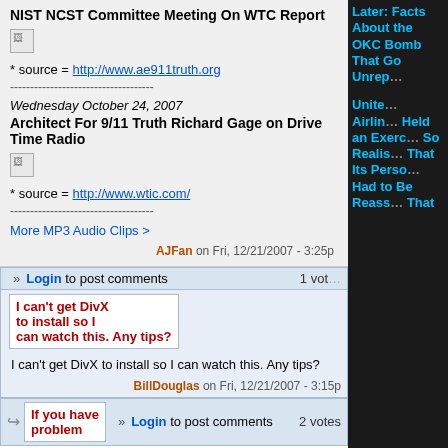NIST NCST Committee Meeting On WTC Report
[Figure (photo): Broken/missing image placeholder]
* source = http://www.ae911truth.org
------------------------------------
Wednesday October 24, 2007
Architect For 9/11 Truth Richard Gage on Drive Time Radio
[Figure (photo): Broken/missing image placeholder]
* source = http://www.wtic.com/
------------------------------------
More MP3 Audio Clips >
AJFan on Fri, 12/21/2007 - 3:25p
Login to post comments   1 vote
I can't get DivX to install so I can watch this. Any tips?
I can't get DivX to install so I can watch this. Any tips?
BillDouglas on Fri, 12/21/2007 - 3:15p
Login to post comments   2 votes
If you have problem